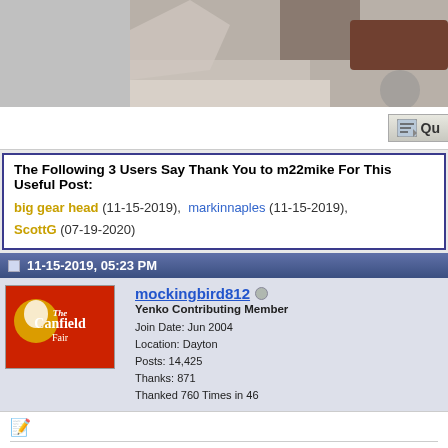[Figure (photo): Top portion of a forum post showing a partial photograph (person/object, cropped)]
The Following 3 Users Say Thank You to m22mike For This Useful Post:
big gear head (11-15-2019), markinnaples (11-15-2019), ScottG (07-19-2020)
11-15-2019, 05:23 PM
mockingbird812
Yenko Contributing Member
Join Date: Jun 2004
Location: Dayton
Posts: 14,425
Thanks: 871
Thanked 760 Times in 46...
Dat boy's got talent!!!!!!!!!!!!!!!!!!!!!!!!!
[Figure (illustration): Forum signature showing italic 'Sam...' text, a sign reading 'HOLLY ROCKS', and a small emoticon/emoji figure below it]